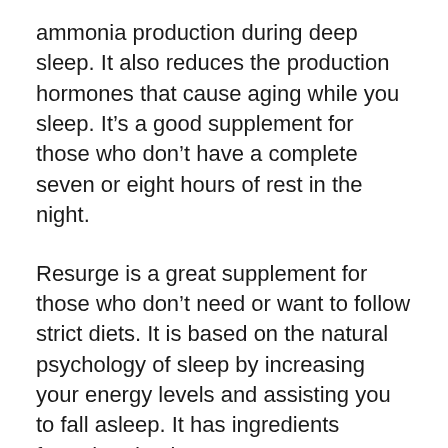ammonia production during deep sleep. It also reduces the production hormones that cause aging while you sleep. It’s a good supplement for those who don’t have a complete seven or eight hours of rest in the night.
Resurge is a great supplement for those who don’t need or want to follow strict diets. It is based on the natural psychology of sleep by increasing your energy levels and assisting you to fall asleep. It has ingredients formulated to increase your metabolism. It’s a safe and efficient supplement to aid you in losing weight. You’ll feel refreshed after a tiring day of work and will stop snacking at night.